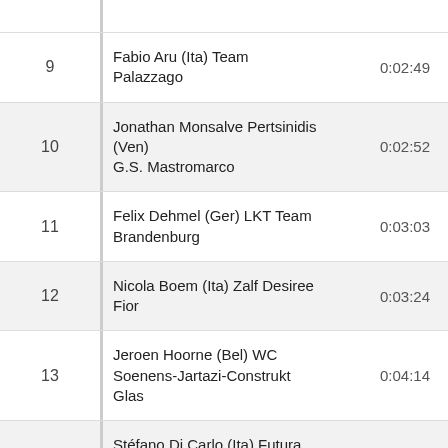| # | Rider | Time |
| --- | --- | --- |
| 9 | Fabio Aru (Ita) Team Palazzago | 0:02:49 |
| 10 | Jonathan Monsalve Pertsinidis (Ven) G.S. Mastromarco | 0:02:52 |
| 11 | Felix Dehmel (Ger) LKT Team Brandenburg | 0:03:03 |
| 12 | Nicola Boem (Ita) Zalf Desiree Fior | 0:03:24 |
| 13 | Jeroen Hoorne (Bel) WC Soenens-Jartazi-Construkt Glas | 0:04:14 |
| 14 | Stéfano Di Carlo (Ita) Futura Team - Matricardi | 0:04:51 |
| 15 | Dennis Vanendert (Bel) Beveren 2000 - Quick Step |  |
| 16 | Andrew Talansky (USA) US National Team | 0:04:54 |